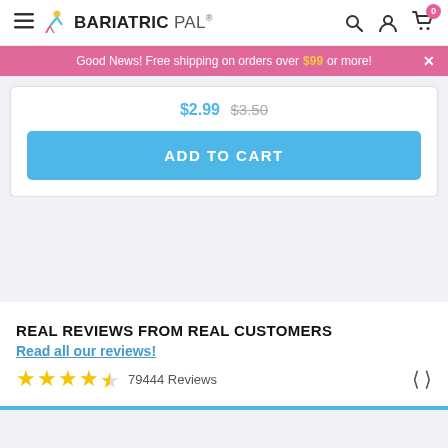BariatricPal
Good News! Free shipping on orders over $99 or more!
$2.99 $3.50
ADD TO CART
REAL REVIEWS FROM REAL CUSTOMERS
Read all our reviews!
79444 Reviews